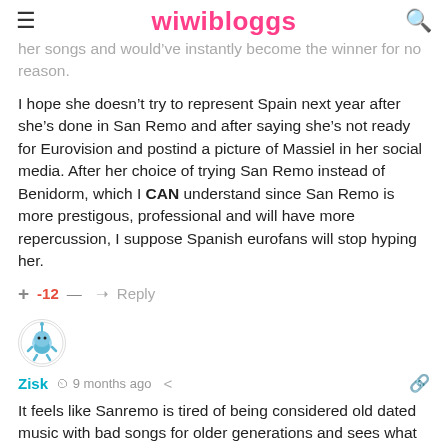wiwibloggs
her songs and would've instantly become the winner for no reason.
I hope she doesn't try to represent Spain next year after she's done in San Remo and after saying she's not ready for Eurovision and postind a picture of Massiel in her social media. After her choice of trying San Remo instead of Benidorm, which I CAN understand since San Remo is more prestigous, professional and will have more repercussion, I suppose Spanish eurofans will stop hyping her.
+ -12 — ➜ Reply
[Figure (illustration): Round avatar icon showing a cartoon blue character (star-shaped creature) on white background with gray border]
Zisk  9 months ago
It feels like Sanremo is tired of being considered old dated music with bad songs for older generations and sees what Massiel has done and realizes that the change comes and